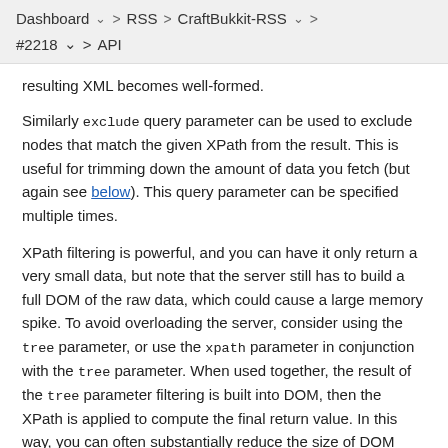Dashboard > RSS > CraftBukkit-RSS > > #2218 > > API
resulting XML becomes well-formed.
Similarly exclude query parameter can be used to exclude nodes that match the given XPath from the result. This is useful for trimming down the amount of data you fetch (but again see below). This query parameter can be specified multiple times.
XPath filtering is powerful, and you can have it only return a very small data, but note that the server still has to build a full DOM of the raw data, which could cause a large memory spike. To avoid overloading the server, consider using the tree parameter, or use the xpath parameter in conjunction with the tree parameter. When used together, the result of the tree parameter filtering is built into DOM, then the XPath is applied to compute the final return value. In this way, you can often substantially reduce the size of DOM built in memory.